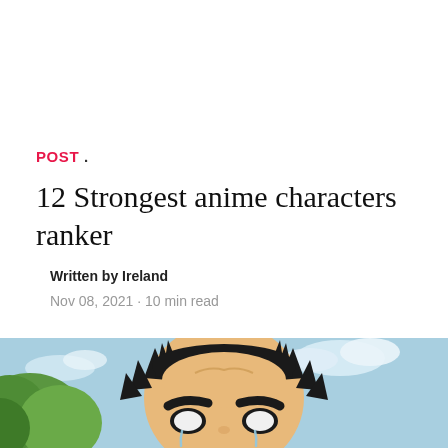POST .
12 Strongest anime characters ranker
Written by Ireland
Nov 08, 2021 · 10 min read
[Figure (illustration): Close-up anime character with spiky black hair, tan skin, heavy eyebrows, blank white eyes, and tears running down cheeks, with a blue sky and green trees in the background.]